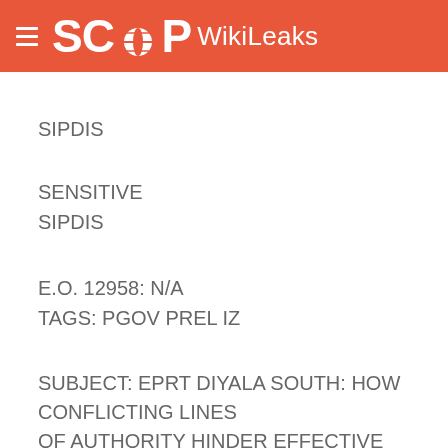SCOOP WikiLeaks
SIPDIS
SENSITIVE
SIPDIS
E.O. 12958: N/A
TAGS: PGOV PREL IZ
SUBJECT: EPRT DIYALA SOUTH: HOW CONFLICTING LINES OF AUTHORITY HINDER EFFECTIVE LOCAL GOVERNMENT